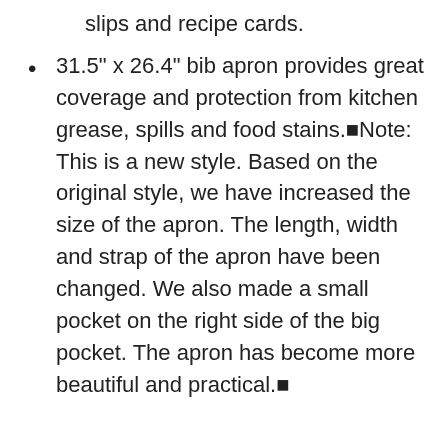slips and recipe cards.
31.5" x 26.4" bib apron provides great coverage and protection from kitchen grease, spills and food stains.■Note: This is a new style. Based on the original style, we have increased the size of the apron. The length, width and strap of the apron have been changed. We also made a small pocket on the right side of the big pocket. The apron has become more beautiful and practical.■